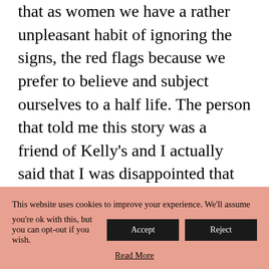that as women we have a rather unpleasant habit of ignoring the signs, the red flags because we prefer to believe and subject ourselves to a half life. The person that told me this story was a friend of Kelly's and I actually said that I was disappointed that as her friend who had clearly thought that there was something seriously wrong with this guy, that she had said nothing. Whilst we can't live the lives of people that we care about, I do actually think that it's wrong to
This website uses cookies to improve your experience. We'll assume you're ok with this, but you can opt-out if you wish. [Accept] [Reject] Read More